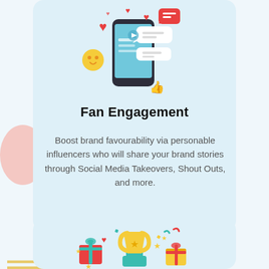[Figure (illustration): Colorful social media illustration showing a smartphone with hearts, likes, chat bubbles, emoji and engagement icons floating around it]
Fan Engagement
Boost brand favourability via personable influencers who will share your brand stories through Social Media Takeovers, Shout Outs, and more.
[Figure (illustration): Colorful illustration of a gold trophy cup with gift boxes, stars, hearts and confetti around it on a teal pedestal]